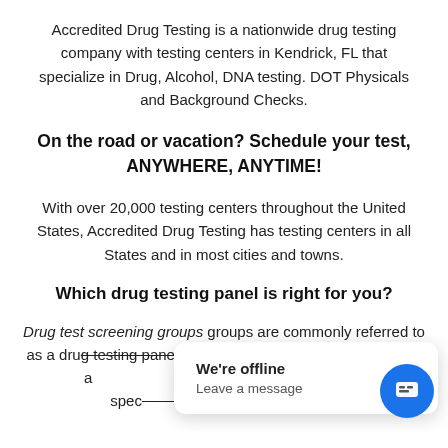Accredited Drug Testing is a nationwide drug testing company with testing centers in Kendrick, FL that specialize in Drug, Alcohol, DNA testing. DOT Physicals and Background Checks.
On the road or vacation? Schedule your test, ANYWHERE, ANYTIME!
With over 20,000 testing centers throughout the United States, Accredited Drug Testing has testing centers in all States and in most cities and towns.
Which drug testing panel is right for you?
Drug test screening groups groups are commonly referred to as a drug testing panel. The most common panels used are a... d of tests, (panels spec... cree...
[Figure (screenshot): Chat widget popup overlay showing 'We're offline' and 'Leave a message' text, with a blue circular chat button icon in the bottom right corner.]